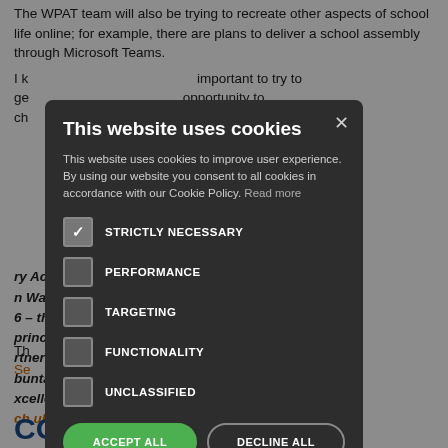The WPAT team will also be trying to recreate other aspects of school life online; for example, there are plans to deliver a school assembly through Microsoft Teams.
I k... important to try to ge... opportunity to ch... being brave and lea...
...ry Academy Trust, ...n Warrington and ...6 – the first to be ...principle is to ...rtnership, ...buntability, and ...xcellent
...ch.uk/
Th... copyright.
Se...
COMMENTS
[Figure (screenshot): Cookie consent modal dialog with dark background. Title: 'This website uses cookies'. Body text explaining cookie policy. Checkboxes for STRICTLY NECESSARY (checked), PERFORMANCE, TARGETING, FUNCTIONALITY, UNCLASSIFIED. Buttons: ACCEPT ALL (green), DECLINE ALL (outlined). SHOW DETAILS link at bottom. Close X button top right.]